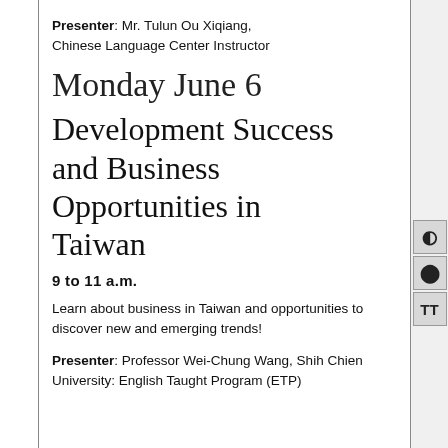Presenter: Mr. Tulun Ou Xiqiang, Chinese Language Center Instructor
Monday June 6
Development Success and Business Opportunities in Taiwan
9 to 11 a.m.
Learn about business in Taiwan and opportunities to discover new and emerging trends!
Presenter: Professor Wei-Chung Wang, Shih Chien University: English Taught Program (ETP)